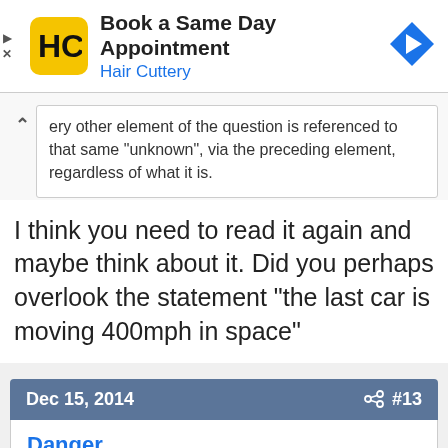[Figure (other): Hair Cuttery ad banner with logo, text 'Book a Same Day Appointment / Hair Cuttery', and navigation arrow icon]
ery other element of the question is referenced to that same "unknown", via the preceding element, regardless of what it is.
I think you need to read it again and maybe think about it. Did you perhaps overlook the statement "the last car is moving 400mph in space"
Dec 15, 2014   #13
Danger